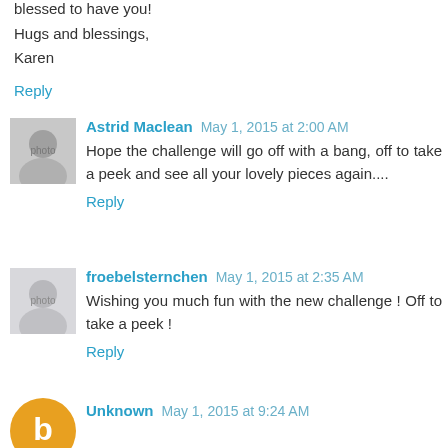blessed to have you!
Hugs and blessings,
Karen
Reply
Astrid Maclean  May 1, 2015 at 2:00 AM
Hope the challenge will go off with a bang, off to take a peek and see all your lovely pieces again....
Reply
froebelsternchen  May 1, 2015 at 2:35 AM
Wishing you much fun with the new challenge ! Off to take a peek !
Reply
Unknown  May 1, 2015 at 9:24 AM